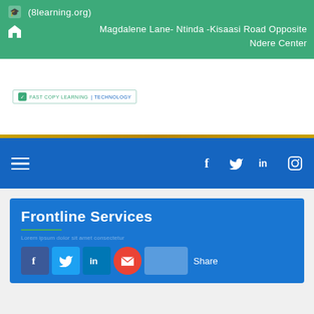(8learning.org)
Magdalene Lane- Ntinda -Kisaasi Road Opposite Ndere Center
[Figure (logo): Small organization logo/badge in teal colors]
Frontline Services
Share